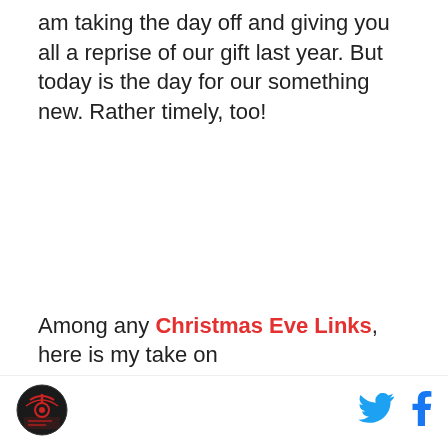am taking the day off and giving you all a reprise of our gift last year. But today is the day for our something new. Rather timely, too!
Among any Christmas Eve Links, here is my take on
[Figure (logo): Circular logo with dark background and stylized antenna/broadcast symbol]